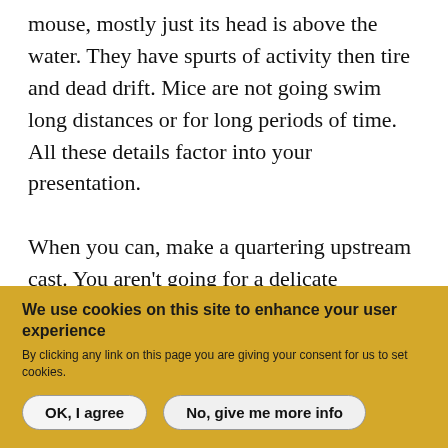mouse, mostly just its head is above the water. They have spurts of activity then tire and dead drift. Mice are not going swim long distances or for long periods of time. All these details factor into your presentation.

When you can, make a quartering upstream cast. You aren't going for a delicate presentation here, you want a splash close to the bank. Mice don't just fall from the sky like spinners. Make the cast, let the mouse pop to the surface (if it doesn't get eaten when it hits) and
We use cookies on this site to enhance your user experience
By clicking any link on this page you are giving your consent for us to set cookies.
OK, I agree
No, give me more info